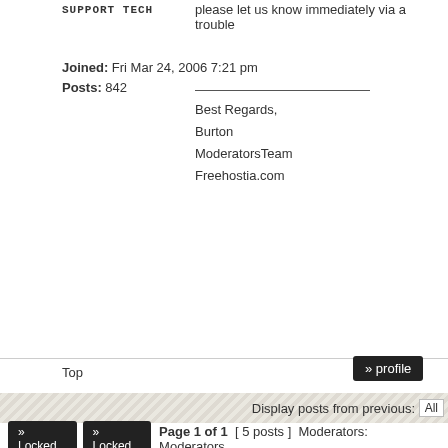SUPPORT TECH
Joined: Fri Mar 24, 2006 7:21 pm
Posts: 842
please let us know immediately via a trouble
Best Regards,
Burton
ModeratorsTeam
Freehostia.com
Top
profile
Display posts from previous:  All
Locked   Locked   Page 1 of 1  [ 5 posts ]  Moderators: Moderators,
Board index » Announcements » Outages/Service Problems
Search for:
Hosting | Domains | Servers